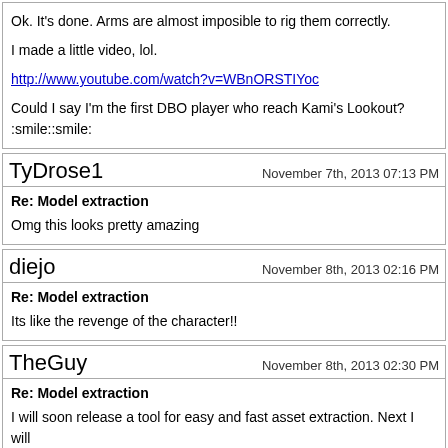Ok. It's done. Arms are almost imposible to rig them correctly.

I made a little video, lol.

http://www.youtube.com/watch?v=WBnORSTIYoc

Could I say I'm the first DBO player who reach Kami's Lookout? :smile::smile:
TyDrose1 | November 7th, 2013 07:13 PM
Re: Model extraction

Omg this looks pretty amazing
diejo | November 8th, 2013 02:16 PM
Re: Model extraction

Its like the revenge of the character!!
TheGuy | November 8th, 2013 02:30 PM
Re: Model extraction

I will soon release a tool for easy and fast asset extraction. Next I will